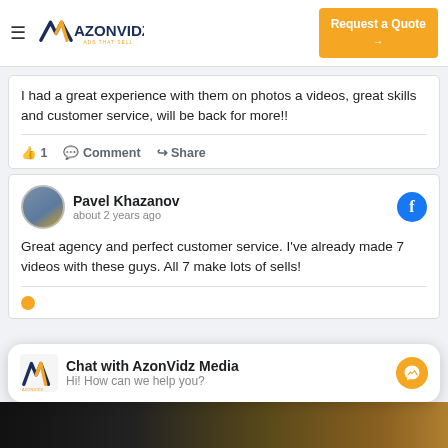[Figure (logo): AzonVidz logo with hamburger menu and 'Request a Quote' button]
I had a great experience with them on photos a videos, great skills and customer service, will be back for more!!
👍 1   Comment   Share
Pavel Khazanov
about 2 years ago
Great agency and perfect customer service. I've already made 7 videos with these guys. All 7 make lots of sells!
Chat with AzonVidz Media
Hi! How can we help you?